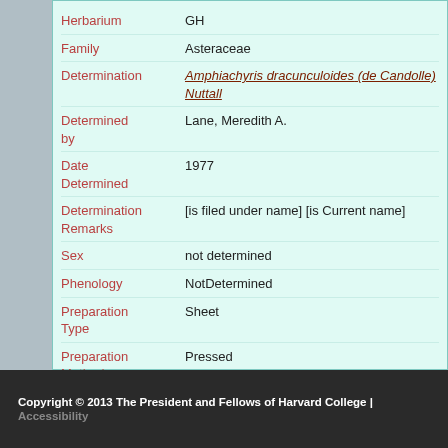| Field | Value |
| --- | --- |
| Herbarium | GH |
| Family | Asteraceae |
| Determination | Amphiachyris dracunculoides (de Candolle) Nuttall |
| Determined by | Lane, Meredith A. |
| Date Determined | 1977 |
| Determination Remarks | [is filed under name] [is Current name] |
| Sex | not determined |
| Phenology | NotDetermined |
| Preparation Type | Sheet |
| Preparation Method | Pressed |
Copyright © 2013 The President and Fellows of Harvard College | Accessibility